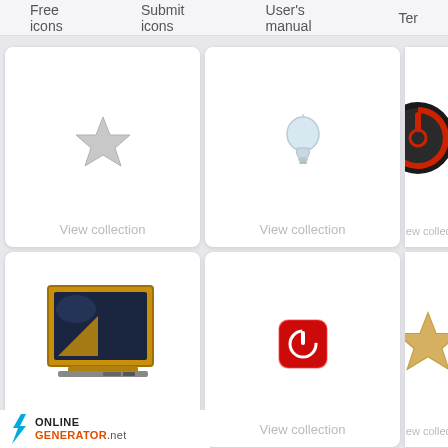Free icons   Submit icons   User's manual   Ter
[Figure (screenshot): Icon collection grid showing 6 icon cards. Top row: grey star icon, light bulb icon, red power button icon. Bottom row: blackboard/monitor icon, red power symbol icon, gold star icon. Each card has 'View collection' label.]
[Figure (logo): OnlineGenerator.net logo with blue lightning bolt and orange/red text]